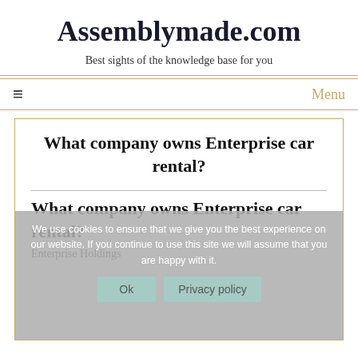Assemblymade.com
Best sights of the knowledge base for you
≡   Menu
What company owns Enterprise car rental?
We use cookies to ensure that we give you the best experience on our website. If you continue to use this site we will assume that you are happy with it.
What company owns Enterprise car rental?
Enterprise Holdings